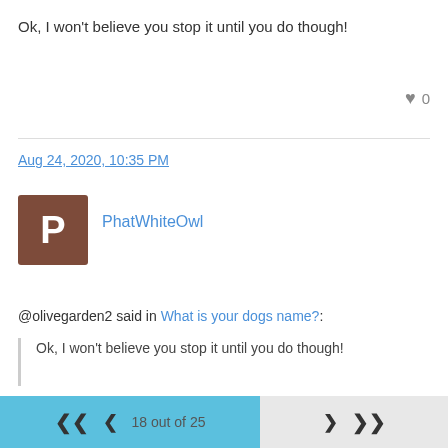Ok, I won't believe you stop it until you do though!
♥ 0
Aug 24, 2020, 10:35 PM
PhatWhiteOwl
@olivegarden2 said in What is your dogs name?:
Ok, I won't believe you stop it until you do though!
You got it.
18 out of 25